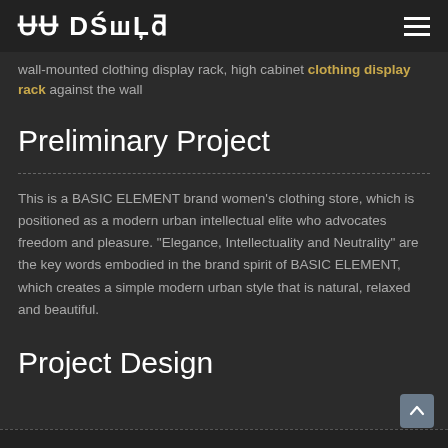On Display [logo] ≡
wall-mounted clothing display rack, high cabinet clothing display rack against the wall
Preliminary Project
This is a BASIC ELEMENT brand women's clothing store, which is positioned as a modern urban intellectual elite who advocates freedom and pleasure. "Elegance, Intellectuality and Neutrality" are the key words embodied in the brand spirit of BASIC ELEMENT, which creates a simple modern urban style that is natural, relaxed and beautiful.
Project Design